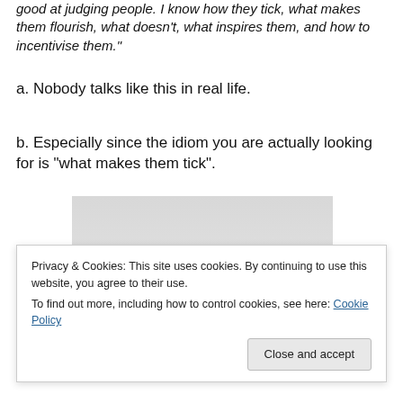good at judging people. I know how they tick, what makes them flourish, what doesn't, what inspires them, and how to incentivise them."
a. Nobody talks like this in real life.
b. Especially since the idiom you are actually looking for is “what makes them tick”.
[Figure (photo): A man wearing a black cap and sunglasses, looking upward, against a light grey background.]
Privacy & Cookies: This site uses cookies. By continuing to use this website, you agree to their use.
To find out more, including how to control cookies, see here: Cookie Policy